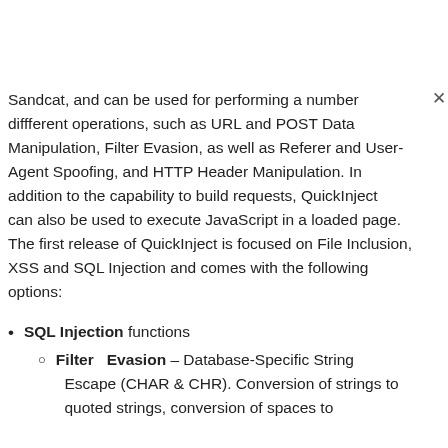Sandcat, and can be used for performing a number different operations, such as URL and POST Data Manipulation, Filter Evasion, as well as Referer and User-Agent Spoofing, and HTTP Header Manipulation. In addition to the capability to build requests, QuickInject can also be used to execute JavaScript in a loaded page. The first release of QuickInject is focused on File Inclusion, XSS and SQL Injection and comes with the following options:
SQL Injection functions
Filter Evasion – Database-Specific String Escape (CHAR & CHR). Conversion of strings to quoted strings, conversion of spaces to...